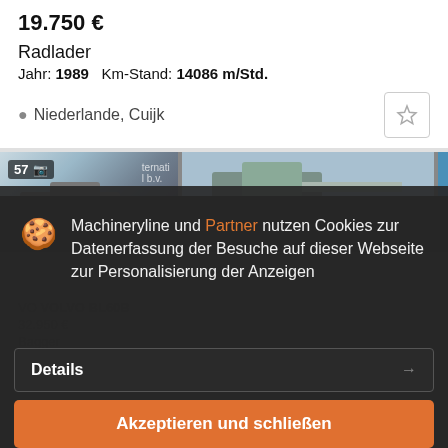19.750 €
Radlader
Jahr: 1989   Km-Stand: 14086 m/Std.
Niederlande, Cuijk
[Figure (photo): Photograph of a wheel loader / construction machinery, two images side by side with photo count badge showing 57]
Machineryline und Partner nutzen Cookies zur Datenerfassung der Besuche auf dieser Webseite zur Personalisierung der Anzeigen
VOLVO BL60B
32.950 €
Bagger
Jahr: 2024   Km-Stand: 1340 m/Std.
Details
Akzeptieren und schließen